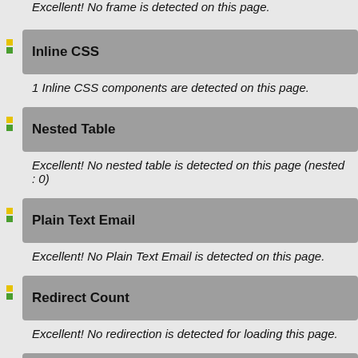Excellent! No frame is detected on this page.
Inline CSS
1 Inline CSS components are detected on this page.
Nested Table
Excellent! No nested table is detected on this page (nested : 0)
Plain Text Email
Excellent! No Plain Text Email is detected on this page.
Redirect Count
Excellent! No redirection is detected for loading this page.
Using HTTPS